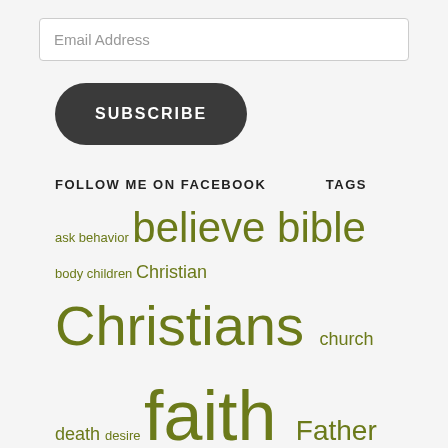Email Address
SUBSCRIBE
FOLLOW ME ON FACEBOOK
TAGS
ask behavior believe bible body children Christian Christians church death desire faith Father fight God heart heaven Instructions jesus know life live living Lord love mind peace people place power pray prayer read receive salvation Satan sin spirit spiritual submit time will Word world